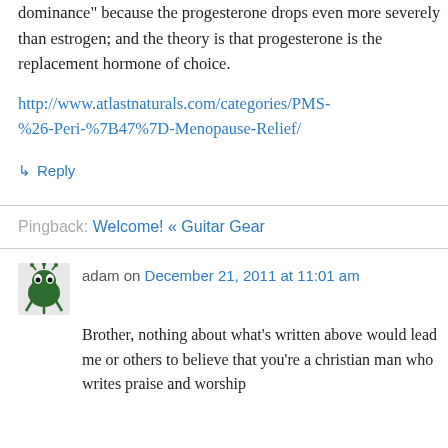dominance" because the progesterone drops even more severely than estrogen; and the theory is that progesterone is the replacement hormone of choice.
http://www.atlastnaturals.com/categories/PMS-%26-Peri-%7B47%7D-Menopause-Relief/
↳ Reply
Pingback: Welcome! « Guitar Gear
adam on December 21, 2011 at 11:01 am
Brother, nothing about what's written above would lead me or others to believe that you're a christian man who writes praise and worship